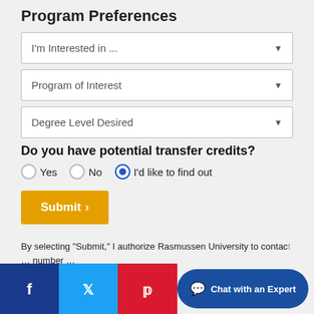Program Preferences
I'm Interested in ...
Program of Interest
Degree Level Desired
Do you have potential transfer credits?
Yes   No   I'd like to find out
Submit >
By selecting "Submit," I authorize Rasmussen University to contact ... number ...
[Figure (screenshot): Social media share bar with Facebook, Twitter, Pinterest buttons and a Chat with an Expert button overlay at bottom of page]